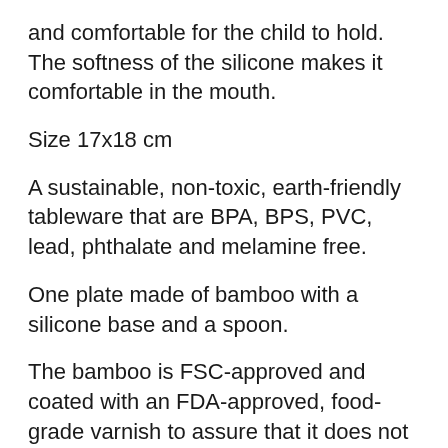and comfortable for the child to hold. The softness of the silicone makes it comfortable in the mouth.
Size 17x18 cm
A sustainable, non-toxic, earth-friendly tableware that are BPA, BPS, PVC, lead, phthalate and melamine free.
One plate made of bamboo with a silicone base and a spoon.
The bamboo is FSC-approved and coated with an FDA-approved, food-grade varnish to assure that it does not absorb water or colour. The silicone is FDA-approved, free from plastic, BPA, PVC, lead and phthalates.
Care instructions:
Hand wash with warm water and detergent.
Rinse thoroughly.